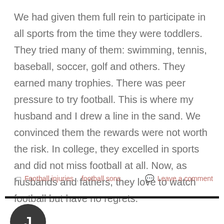We had given them full rein to participate in all sports from the time they were toddlers. They tried many of them: swimming, tennis, baseball, soccer, golf and others. They earned many trophies. There was peer pressure to try football. This is where my husband and I drew a line in the sand. We convinced them the rewards were not worth the risk. In college, they excelled in sports and did not miss football at all. Now, as husbands and fathers, they love to watch football but have no regrets.
Football injuries, football sons   Leave a comment